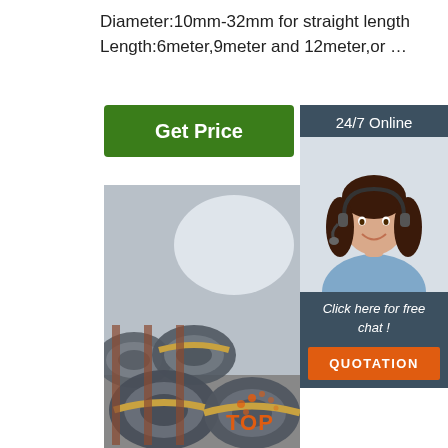Diameter:10mm-32mm for straight length
Length:6meter,9meter and 12meter,or …
[Figure (other): Green 'Get Price' button]
[Figure (other): Sidebar with '24/7 Online' text, customer service representative photo wearing headset, 'Click here for free chat!' text, and orange QUOTATION button]
[Figure (photo): Warehouse with large coils of steel wire rod bundled with yellow strapping, stacked in rows]
[Figure (logo): TOP logo with orange dots in bottom right corner]